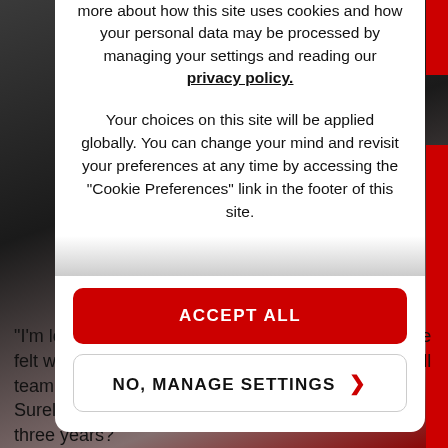more about how this site uses cookies and how your personal data may be processed by managing your settings and reading our privacy policy.
Your choices on this site will be applied globally. You can change your mind and revisit your preferences at any time by accessing the "Cookie Preferences" link in the footer of this site.
ACCEPT ALL
NO, MANAGE SETTINGS >
“I’m losing power.” What must Daniel Ricciardo have felt when reporting those three words to his Red Bull team, with more than half the race still to run? Surely he couldn’t lose a second Monaco win in three years?